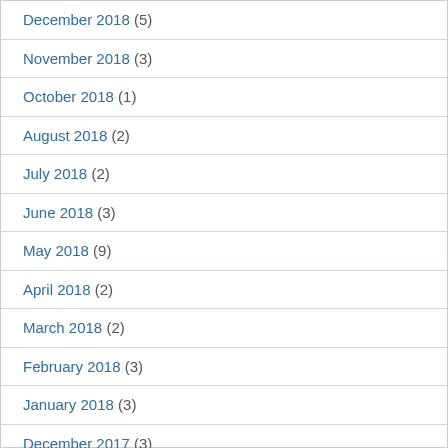December 2018 (5)
November 2018 (3)
October 2018 (1)
August 2018 (2)
July 2018 (2)
June 2018 (3)
May 2018 (9)
April 2018 (2)
March 2018 (2)
February 2018 (3)
January 2018 (3)
December 2017 (3)
November 2017 (21)
October 2017 (5)
September 2017 (7)